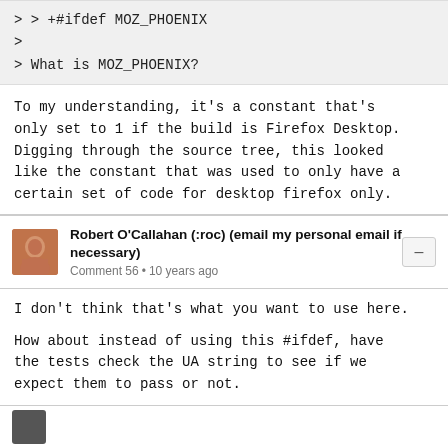> > +#ifdef MOZ_PHOENIX
>
> What is MOZ_PHOENIX?
To my understanding, it's a constant that's only set to 1 if the build is Firefox Desktop. Digging through the source tree, this looked like the constant that was used to only have a certain set of code for desktop firefox only.
Robert O'Callahan (:roc) (email my personal email if necessary)
Comment 56 • 10 years ago
I don't think that's what you want to use here.
How about instead of using this #ifdef, have the tests check the UA string to see if we expect them to pass or not.